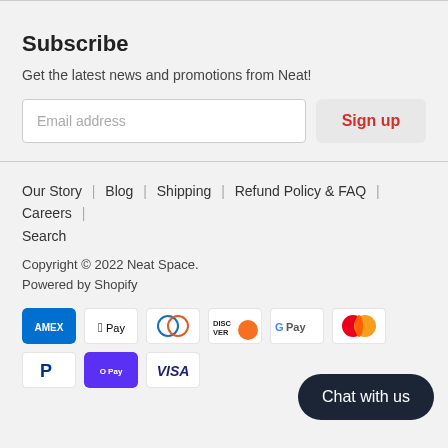Subscribe
Get the latest news and promotions from Neat!
Email address | Sign up
Our Story | Blog | Shipping | Refund Policy & FAQ | Careers | Search
Copyright © 2022 Neat Space.
Powered by Shopify
[Figure (logo): Payment method icons: Amex, Apple Pay, Diners Club, Discover, Google Pay, Mastercard, PayPal, Shop Pay, Visa]
Chat with us